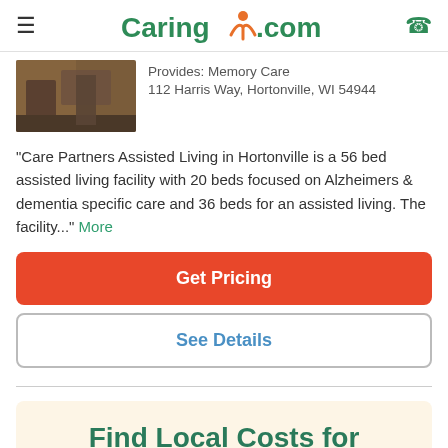Caring.com
Provides: Memory Care
112 Harris Way, Hortonville, WI 54944
"Care Partners Assisted Living in Hortonville is a 56 bed assisted living facility with 20 beds focused on Alzheimers & dementia specific care and 36 beds for an assisted living. The facility..." More
Get Pricing
See Details
Find Local Costs for